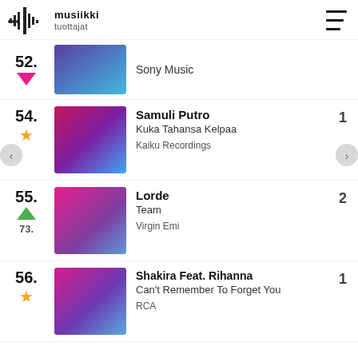musiikki tuottajat
52. Sony Music — down arrow
54. Samuli Putro — Kuka Tahansa Kelpaa — Kaiku Recordings — 1 week
55. Lorde — Team — Virgin Emi — 2 weeks — previous rank 73
56. Shakira Feat. Rihanna — Can't Remember To Forget You — RCA — 1 week